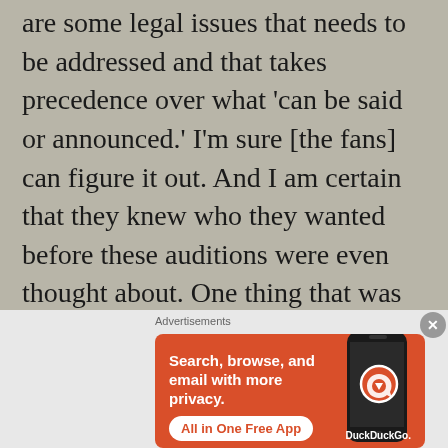are some legal issues that needs to be addressed and that takes precedence over what 'can be said or announced.' I'm sure [the fans] can figure it out. And I am certain that they knew who they wanted before these auditions were even thought about. One thing that was said directly to me was,
Advertisements
[Figure (screenshot): DuckDuckGo advertisement banner with orange background showing text 'Search, browse, and email with more privacy. All in One Free App' with a phone mockup on the right side]